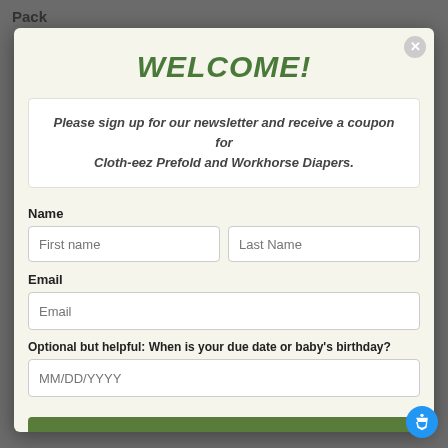Pack
WELCOME!
Please sign up for our newsletter and receive a coupon for Cloth-eez Prefold and Workhorse Diapers.
Name
Email
Optional but helpful: When is your due date or baby's birthday?
OK
Standard 100 certified.